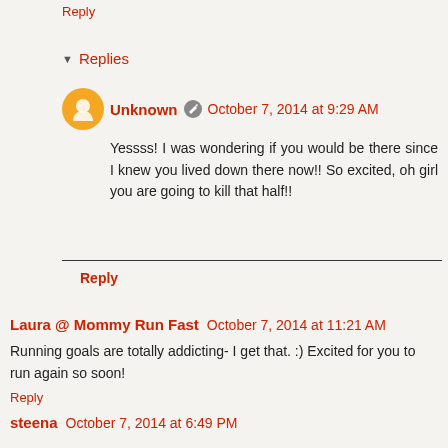Reply
▸ Replies
Unknown  October 7, 2014 at 9:29 AM
Yessss! I was wondering if you would be there since I knew you lived down there now!! So excited, oh girl you are going to kill that half!!
Reply
Laura @ Mommy Run Fast  October 7, 2014 at 11:21 AM
Running goals are totally addicting- I get that. :) Excited for you to run again so soon!
Reply
steena  October 7, 2014 at 6:49 PM